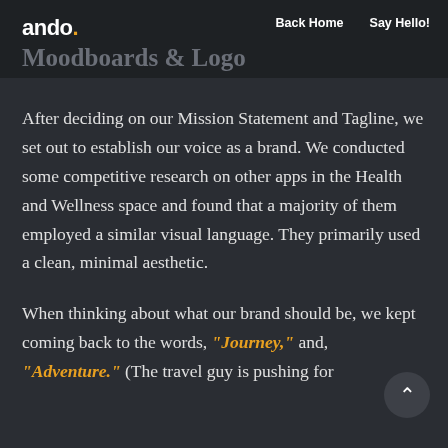ando. Moodboards & Logo | Back Home | Say Hello!
After deciding on our Mission Statement and Tagline, we set out to establish our voice as a brand. We conducted some competitive research on other apps in the Health and Wellness space and found that a majority of them employed a similar visual language. They primarily used a clean, minimal aesthetic.
When thinking about what our brand should be, we kept coming back to the words, "Journey," and, "Adventure." (The travel guy is pushing for